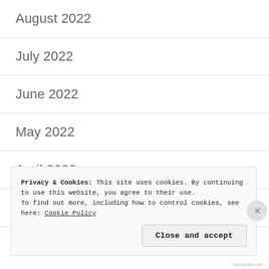August 2022
July 2022
June 2022
May 2022
April 2022
March 2022
Privacy & Cookies: This site uses cookies. By continuing to use this website, you agree to their use.
To find out more, including how to control cookies, see here: Cookie Policy
Close and accept